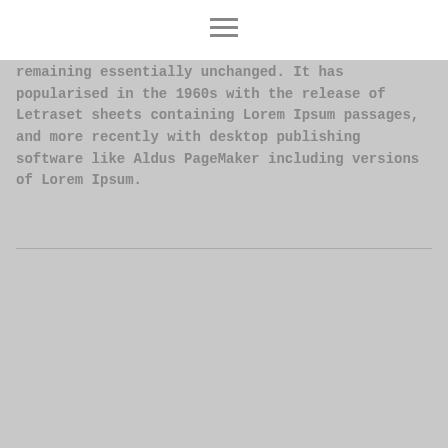remaining essentially unchanged. It has popularised in the 1960s with the release of Letraset sheets containing Lorem Ipsum passages, and more recently with desktop publishing software like Aldus PageMaker including versions of Lorem Ipsum.
[Figure (illustration): Image placeholder showing '850 x 480' with a date badge showing '26 Mar' in olive/yellow-green color]